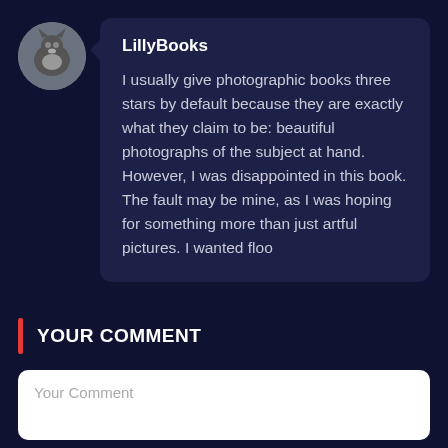[Figure (illustration): Circular avatar image of a cat]
LillyBooks
I usually give photographic books three stars by default because they are exactly what they claim to be: beautiful photographs of the subject at hand. However, I was disappointed in this book. The fault may be mine, as I was hoping for something more than just artful pictures. I wanted floo
YOUR COMMENT
Your Comment